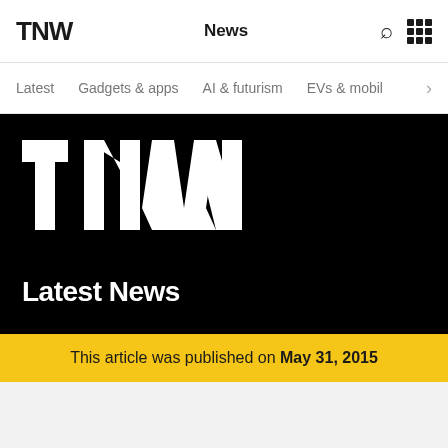TNW  News
Latest  Gadgets & apps  AI & futurism  EVs & mobil >
[Figure (logo): TNW large white logo on black background]
Latest News
This article was published on May 31, 2015